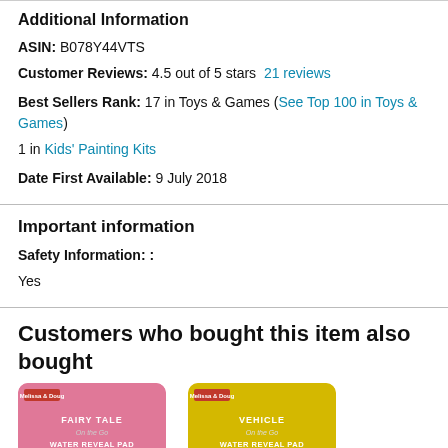Additional Information
ASIN:  B078Y44VTS
Customer Reviews: 4.5 out of 5 stars  21 reviews
Best Sellers Rank: 17 in Toys & Games (See Top 100 in Toys & Games)
1 in Kids' Painting Kits
Date First Available:  9 July 2018
Important information
Safety Information: :
Yes
Customers who bought this item also bought
[Figure (photo): Two product images: a pink Melissa & Doug Fairy Tale Water Reveal Pad on the left and a yellow Melissa & Doug Vehicle Water Reveal Pad on the right.]